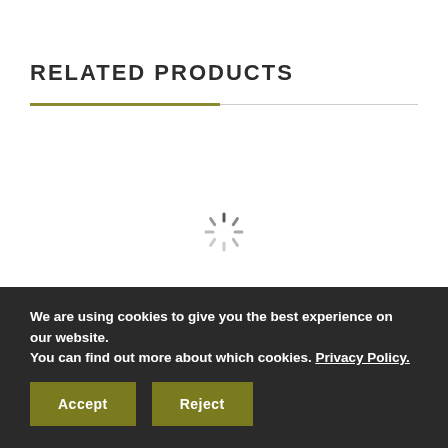RELATED PRODUCTS
[Figure (other): Loading spinner (circular animated indicator) centered on the page]
We are using cookies to give you the best experience on our website.
You can find out more about which cookies. Privacy Policy.
Accept
Reject